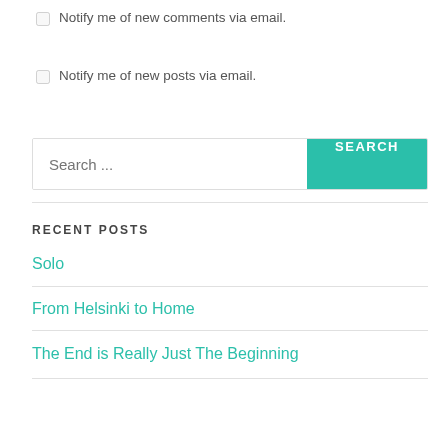Notify me of new comments via email.
Notify me of new posts via email.
[Figure (other): Search bar with text input placeholder 'Search ...' and a teal SEARCH button]
RECENT POSTS
Solo
From Helsinki to Home
The End is Really Just The Beginning